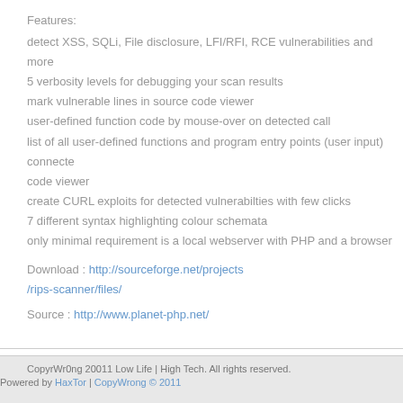Features:
detect XSS, SQLi, File disclosure, LFI/RFI, RCE vulnerabilities and more
5 verbosity levels for debugging your scan results
mark vulnerable lines in source code viewer
user-defined function code by mouse-over on detected call
list of all user-defined functions and program entry points (user input) connected to code viewer
create CURL exploits for detected vulnerabilties with few clicks
7 different syntax highlighting colour schemata
only minimal requirement is a local webserver with PHP and a browser
Download : http://sourceforge.net/projects/rips-scanner/files/
Source : http://www.planet-php.net/
CopyrWr0ng 20011 Low Life | High Tech. All rights reserved. Powered by HaxTor | CopyWrong © 2011